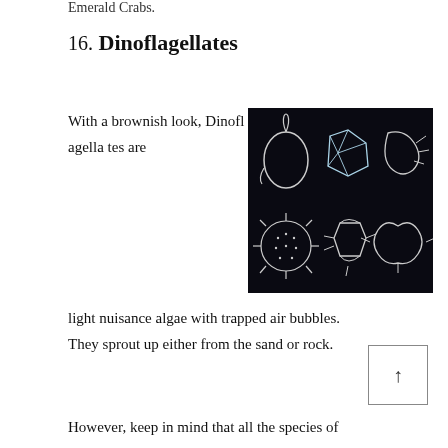Emerald Crabs.
16. Dinoflagellates
With a brownish look, Dinoflagellates are light nuisance algae with trapped air bubbles. They sprout up either from the sand or rock.
[Figure (photo): Electron microscope images of six different dinoflagellate species against a black background, showing various shell shapes and structures.]
However, keep in mind that all the species of